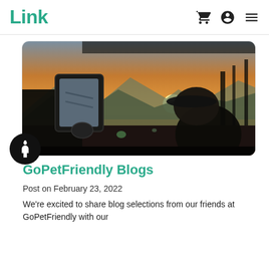Link
[Figure (photo): A dog looking out the passenger window of a vehicle at a scenic sunset over mountains and trees, viewed from inside the car with the side mirror visible.]
GoPetFriendly Blogs
Post on February 23, 2022
We're excited to share blog selections from our friends at GoPetFriendly with our